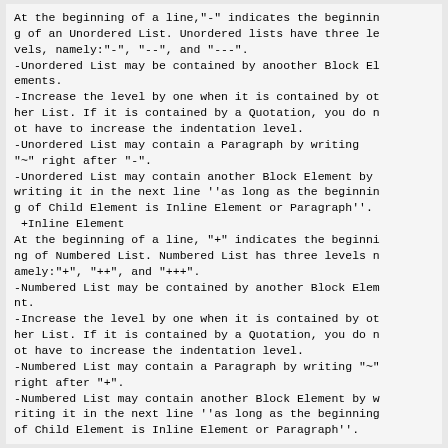At the beginning of a line,"-" indicates the beginning of an Unordered List. Unordered lists have three levels, namely:"-", "--", and "---".
-Unordered List may be contained by anoother Block Elements.
-Increase the level by one when it is contained by other List. If it is contained by a Quotation, you do not have to increase the indentation level.
-Unordered List may contain a Paragraph by writing "~" right after "-".
-Unordered List may contain another Block Element by writing it in the next line ''as long as the beginning of Child Element is Inline Element or Paragraph''.
+Inline Element
At the beginning of a line, "+" indicates the beginning of Numbered List. Numbered List has three levels namely:"+", "++", and "++".
-Numbered List may be contained by another Block Element.
-Increase the level by one when it is contained by other List. If it is contained by a Quotation, you do not have to increase the indentation level.
-Numbered List may contain a Paragraph by writing "~" right after "+".
-Numbered List may contain another Block Element by writing it in the next line ''as long as the beginning of Child Element is Inline Element or Paragraph''.
:Item|Item's Definition
 :Item|the beginning of Item starts with ":"
.